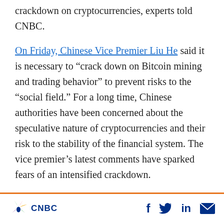crackdown on cryptocurrencies, experts told CNBC.
On Friday, Chinese Vice Premier Liu He said it is necessary to “crack down on Bitcoin mining and trading behavior” to prevent risks to the “social field.” For a long time, Chinese authorities have been concerned about the speculative nature of cryptocurrencies and their risk to the stability of the financial system. The vice premier’s latest comments have sparked fears of an intensified crackdown.
But tough words from Beijing are not new. In
CNBC